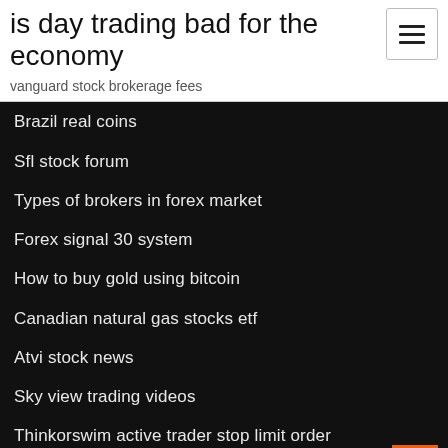is day trading bad for the economy
vanguard stock brokerage fees
Brazil real coins
Sfl stock forum
Types of brokers in forex market
Forex signal 30 system
How to buy gold using bitcoin
Canadian natural gas stocks etf
Atvi stock news
Sky view trading videos
Thinkorswim active trader stop limit order
How low will stock market go in 2020